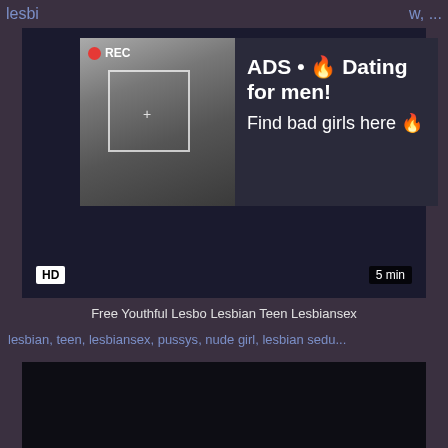lesbi... w, ...
[Figure (screenshot): Video player with an ad overlay showing a woman taking a mirror selfie. Ad overlay reads: ADS • Dating for men! Find bad girls here. REC badge in top-left. HD badge bottom-left, 5 min badge bottom-right.]
Free Youthful Lesbo Lesbian Teen Lesbiansex
lesbian, teen, lesbiansex, pussys, nude girl, lesbian sedu...
[Figure (screenshot): Second video thumbnail, dark/black.]